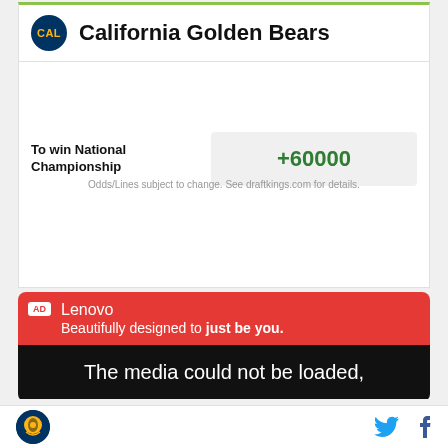California Golden Bears
|  |  |
| --- | --- |
| To win National Championship | +60000 |
Odds/Lines subject to change. See draftkings.com for details.
AD Lenovo Beautifully designed to just be you.
The media could not be loaded,